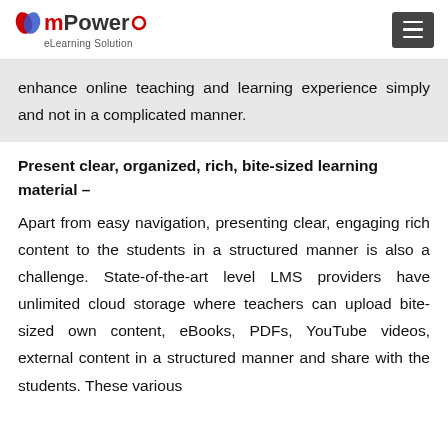mPower eLearning Solution
enhance online teaching and learning experience simply and not in a complicated manner.
Present clear, organized, rich, bite-sized learning material –
Apart from easy navigation, presenting clear, engaging rich content to the students in a structured manner is also a challenge. State-of-the-art level LMS providers have unlimited cloud storage where teachers can upload bite-sized own content, eBooks, PDFs, YouTube videos, external content in a structured manner and share with the students. These various